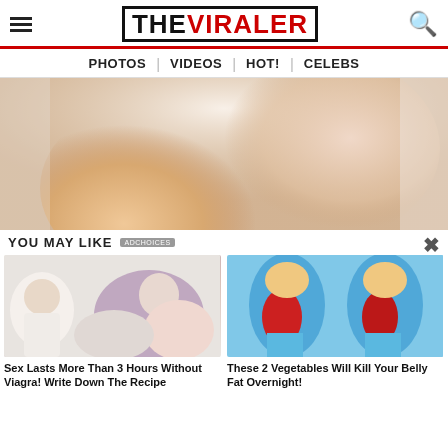THE VIRALER
PHOTOS | VIDEOS | HOT! | CELEBS
[Figure (photo): Close-up photo of a blonde woman in a white tank top wearing a delicate necklace, posing with hand near chin]
YOU MAY LIKE
[Figure (photo): Advertisement thumbnail: doctor figure and illustrated couple, related to a Viagra alternative article]
Sex Lasts More Than 3 Hours Without Viagra! Write Down The Recipe
[Figure (illustration): Advertisement thumbnail: illustrated cartoon showing two female figures with highlighted belly/hip fat areas in red against blue clothing]
These 2 Vegetables Will Kill Your Belly Fat Overnight!